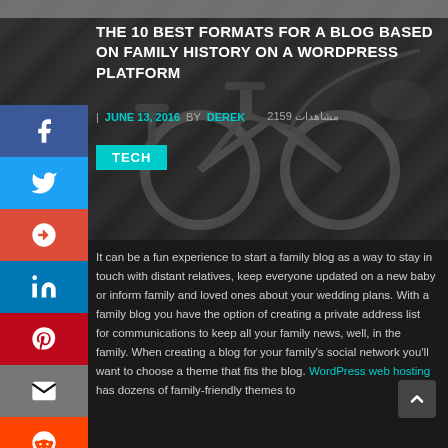[Figure (photo): Hero background image showing a bicycle with dark overlay]
THE 10 BEST FORMATS FOR A BLOG BASED ON FAMILY HISTORY ON A WORDPRESS PLATFORM
| JUNE 13, 2016  BY DEREK  مشاهدات 2159
TECH
It can be a fun experience to start a family blog as a way to stay in touch with distant relatives, keep everyone updated on a new baby or inform family and loved ones about your wedding plans. With a family blog you have the option of creating a private address list for communications to keep all your family news, well, in the family. When creating a blog for your family's social network you'll want to choose a theme that fits the blog. WordPress web hosting has dozens of family-friendly themes to